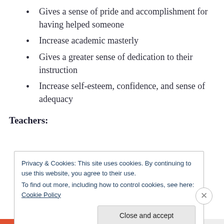Gives a sense of pride and accomplishment for having helped someone
Increase academic masterly
Gives a greater sense of dedication to their instruction
Increase self-esteem, confidence, and sense of adequacy
Teachers:
Privacy & Cookies: This site uses cookies. By continuing to use this website, you agree to their use.
To find out more, including how to control cookies, see here: Cookie Policy